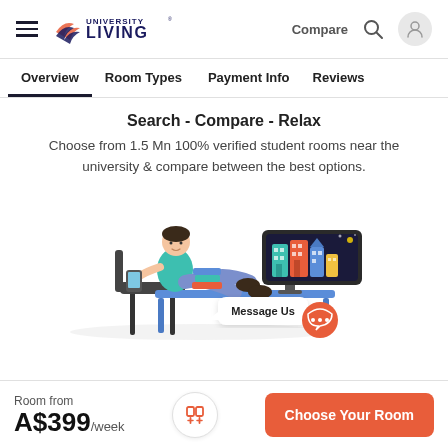University Living — Compare, Search icon, User icon
Overview
Room Types
Payment Info
Reviews
Search - Compare - Relax
Choose from 1.5 Mn 100% verified student rooms near the university & compare between the best options.
[Figure (illustration): Illustration of a person sitting at a desk with feet up, looking at a monitor showing colorful buildings. A stack of books and a chat bubble with 'Message Us' text are visible. An orange chat circle button is in the bottom right.]
Room from A$399/week | Compare button | Choose Your Room button